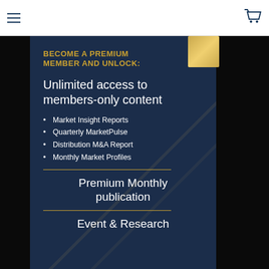≡
BECOME A PREMIUM MEMBER AND UNLOCK:
Unlimited access to members-only content
Market Insight Reports
Quarterly MarketPulse
Distribution M&A Report
Monthly Market Profiles
Premium Monthly publication
Event & Research